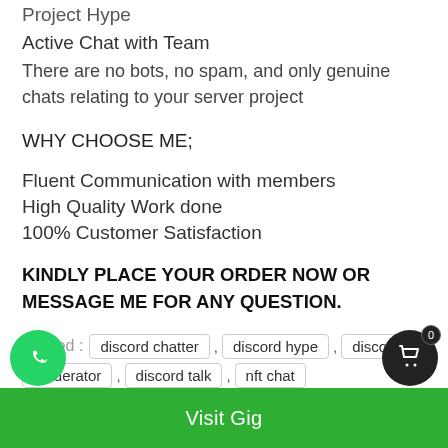Project Hype
Active Chat with Team
There are no bots, no spam, and only genuine chats relating to your server project
WHY CHOOSE ME;
Fluent Communication with members
High Quality Work done
100% Customer Satisfaction
KINDLY PLACE YOUR ORDER NOW OR MESSAGE ME FOR ANY QUESTION.
Tagged : discord chatter , discord hype , discord moderator , discord talk , nft chat
Visit Gig